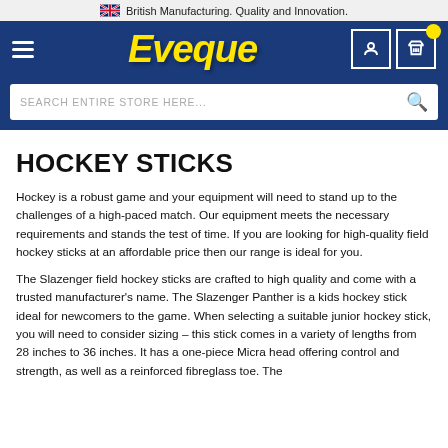British Manufacturing. Quality and Innovation.
[Figure (logo): Eveque logo in yellow italic bold text on dark blue navigation bar with hamburger menu, user icon, and cart icon]
SEARCH ENTIRE STORE HERE...
HOCKEY STICKS
Hockey is a robust game and your equipment will need to stand up to the challenges of a high-paced match. Our equipment meets the necessary requirements and stands the test of time. If you are looking for high-quality field hockey sticks at an affordable price then our range is ideal for you.
The Slazenger field hockey sticks are crafted to high quality and come with a trusted manufacturer’s name. The Slazenger Panther is a kids hockey stick ideal for newcomers to the game. When selecting a suitable junior hockey stick, you will need to consider sizing – this stick comes in a variety of lengths from 28 inches to 36 inches. It has a one-piece Micra head offering control and strength, as well as a reinforced fibreglass toe. The